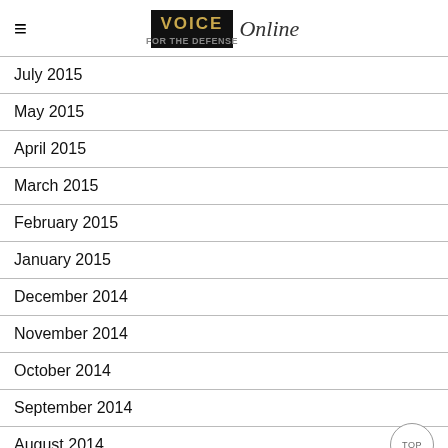VOICE Online
July 2015
May 2015
April 2015
March 2015
February 2015
January 2015
December 2014
November 2014
October 2014
September 2014
August 2014
July 2014